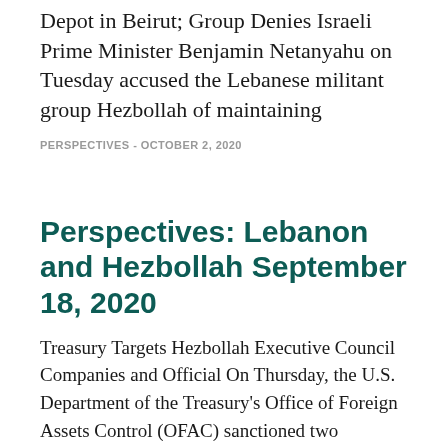Depot in Beirut; Group Denies Israeli Prime Minister Benjamin Netanyahu on Tuesday accused the Lebanese militant group Hezbollah of maintaining
PERSPECTIVES - OCTOBER 2, 2020
Perspectives: Lebanon and Hezbollah September 18, 2020
Treasury Targets Hezbollah Executive Council Companies and Official On Thursday, the U.S. Department of the Treasury's Office of Foreign Assets Control (OFAC) sanctioned two Lebanon-based